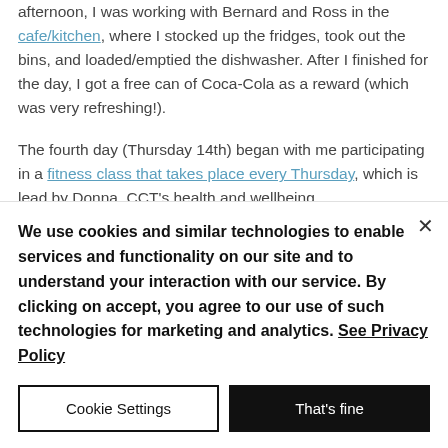afternoon, I was working with Bernard and Ross in the cafe/kitchen, where I stocked up the fridges, took out the bins, and loaded/emptied the dishwasher. After I finished for the day, I got a free can of Coca-Cola as a reward (which was very refreshing!).
The fourth day (Thursday 14th) began with me participating in a fitness class that takes place every Thursday, which is lead by Donna, CCT's health and wellbeing...
We use cookies and similar technologies to enable services and functionality on our site and to understand your interaction with our service. By clicking on accept, you agree to our use of such technologies for marketing and analytics. See Privacy Policy